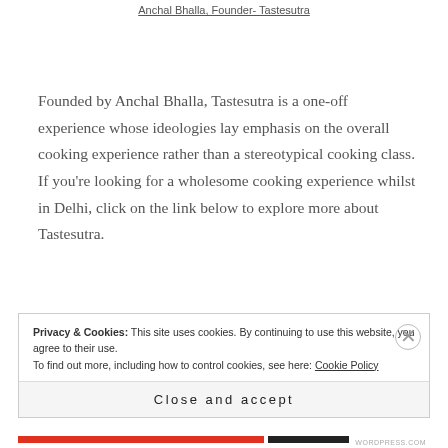Anchal Bhalla, Founder- Tastesutra
Founded by Anchal Bhalla, Tastesutra is a one-off experience whose ideologies lay emphasis on the overall cooking experience rather than a stereotypical cooking class. If you're looking for a wholesome cooking experience whilst in Delhi, click on the link below to explore more about Tastesutra.
Privacy & Cookies: This site uses cookies. By continuing to use this website, you agree to their use.
To find out more, including how to control cookies, see here: Cookie Policy
Close and accept